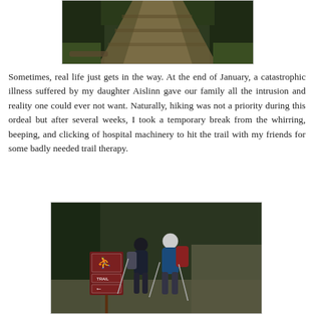[Figure (photo): A forest trail path winding through dense green trees and ferns, viewed from above looking down the path]
Sometimes, real life just gets in the way. At the end of January, a catastrophic illness suffered by my daughter Aislinn gave our family all the intrusion and reality one could ever not want. Naturally, hiking was not a priority during this ordeal but after several weeks, I took a temporary break from the whirring, beeping, and clicking of hospital machinery to hit the trail with my friends for some badly needed trail therapy.
[Figure (photo): Two hikers with backpacks and trekking poles standing next to a brown trail sign in a forested area]